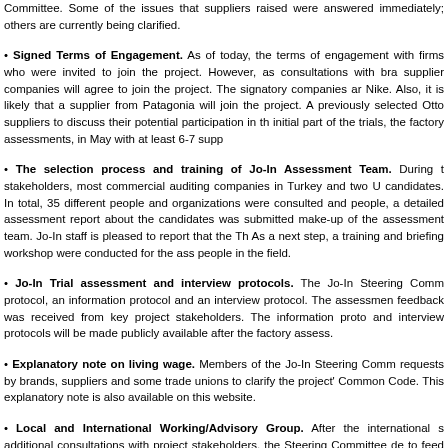Committee. Some of the issues that suppliers raised were answered immediately; others are currently being clarified.
• Signed Terms of Engagement. As of today, the terms of engagement with firms who were invited to join the project. However, as consultations with brands, supplier companies will agree to join the project. The signatory companies are Nike. Also, it is likely that a supplier from Patagonia will join the project. Also previously selected Otto suppliers to discuss their potential participation in the initial part of the trials, the factory assessments, in May with at least 6-7 suppliers.
• The selection process and training of Jo-In Assessment Team. During the stakeholders, most commercial auditing companies in Turkey and two U candidates. In total, 35 different people and organizations were consulted and people, a detailed assessment report about the candidates was submitted make-up of the assessment team. Jo-In staff is pleased to report that the The As a next step, a training and briefing workshop were conducted for the ass people in the field.
• Jo-In Trial assessment and interview protocols. The Jo-In Steering Comm protocol, an information protocol and an interview protocol. The assessment feedback was received from key project stakeholders. The information proto and interview protocols will be made publicly available after the factory assess.
• Explanatory note on living wage. Members of the Jo-In Steering Comm requests by brands, suppliers and some trade unions to clarify the project's Common Code. This explanatory note is also available on this website.
• Local and International Working/Advisory Group. After the international s additional consultations with project stakeholders, the Steering Committee de to feed into the project. On a national level in Turkey, this will entail the creati during the course of the year. Jo-In is planning to convene a first meeting of project and the issue of living wage. The relevant parties will be informed om couple of weeks. The efforts for establishing an International Consultative Gro